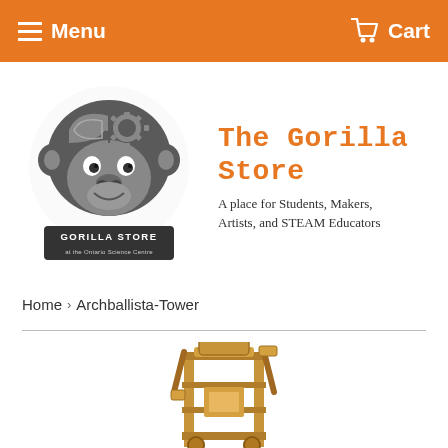Menu  Cart
[Figure (logo): The Gorilla Store logo with gorilla illustration and text 'GORILLA STORE at the Ontario Science Centre']
The Gorilla Store
A place for Students, Makers, Artists, and STEAM Educators
Home › Archballista-Tower
[Figure (photo): Partial view of the Archballista-Tower wooden mechanical model kit product]